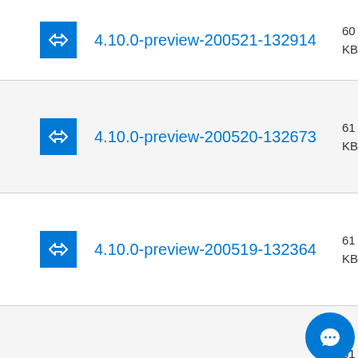4.10.0-preview-200521-132914
4.10.0-preview-200520-132673
4.10.0-preview-200519-132364
4.10.0-preview-200518-131917